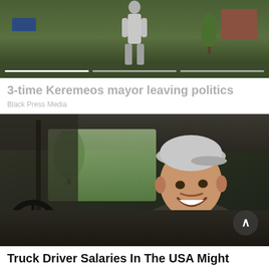[Figure (photo): Video thumbnail showing a man standing on a green sports field with buildings and a car in the background. Progress bar indicators are visible at the bottom of the image.]
3-time Keremeos mayor leaving politics
Black Press Media
[Figure (photo): A smiling older man wearing a gray baseball cap sitting in the driver's seat of a truck cab, with green landscape visible through the windshield. A circular arrow-up button is visible at bottom right.]
Truck Driver Salaries In The USA Might